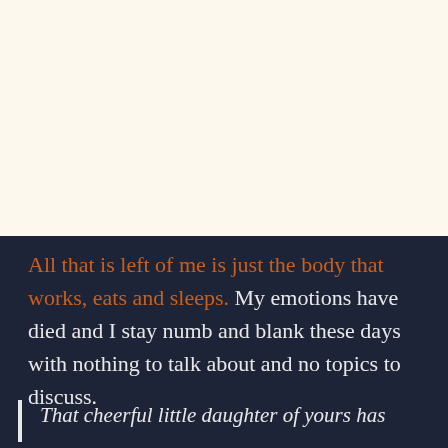[Figure (illustration): Upper portion of the page with a pale cream/off-white background, appearing to be the bottom of an illustration or image.]
All that is left of me is just the body that works, eats and sleeps. My emotions have died and I stay numb and blank these days with nothing to talk about and no topics to discuss.
That cheerful little daughter of yours has